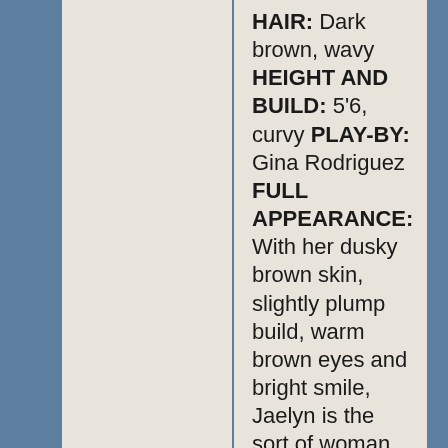HAIR: Dark brown, wavy HEIGHT AND BUILD: 5'6, curvy PLAY-BY: Gina Rodriguez FULL APPEARANCE: With her dusky brown skin, slightly plump build, warm brown eyes and bright smile, Jaelyn is the sort of woman who shows to her best